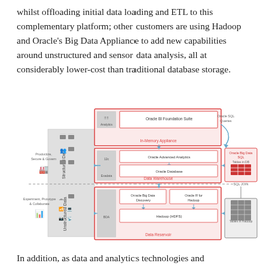whilst offloading initial data loading and ETL to this complementary platform; other customers are using Hadoop and Oracle’s Big Data Appliance to add new capabilities around unstructured and sensor data analysis, all at considerably lower-cost than traditional database storage.
[Figure (infographic): Architecture diagram showing Oracle Big Data platform with two layers: Structured Data (top, with Exadata, Oracle Advanced Analytics, Oracle Database, Data Warehouse, In-Memory Appliance) and Unstructured Data (bottom, with BDA, Oracle Big Data Discovery, Oracle R for Hadoop, Hadoop HDFS, Data Reservoir). Right side shows Oracle Big Data SQL with Tables in DB and Tables in Hadoop. Left side labels: Productize, Secure & Govern; Experiment, Prototype & Collaborate. Oracle SQL Queries arrow on upper right.]
In addition, as data and analytics technologies and